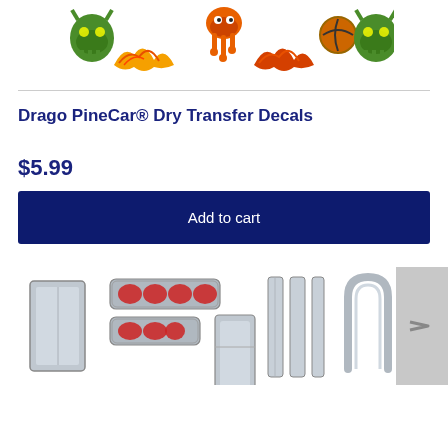[Figure (illustration): Drago PineCar decal artwork showing colorful dragon skull and flame motifs in green, orange, red and yellow on white background]
Drago PineCar® Dry Transfer Decals
$5.99
Add to cart
[Figure (illustration): Bottom thumbnail strip showing various chrome and silver car detail decals including tail lights, trim pieces, and decorative elements]